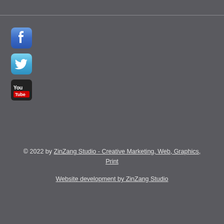[Figure (logo): Facebook social media icon - blue rounded square with white F letter]
[Figure (logo): Twitter social media icon - light blue rounded square with white bird]
[Figure (logo): YouTube social media icon - black rounded square with YouTube logo (red rectangle and white text)]
© 2022 by ZinZang Studio - Creative Marketing, Web, Graphics, Print
Website development by ZinZang Studio